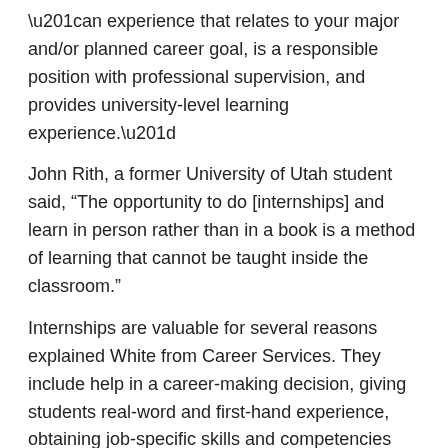“an experience that relates to your major and/or planned career goal, is a responsible position with professional supervision, and provides university-level learning experience.”
John Rith, a former University of Utah student said, “The opportunity to do [internships] and learn in person rather than in a book is a method of learning that cannot be taught inside the classroom.”
Internships are valuable for several reasons explained White from Career Services. They include help in a career-making decision, giving students real-word and first-hand experience, obtaining job-specific skills and competencies that are not obtained in the classroom, material for student resumes, field-related networking opportunities and opportunities for hire.
In an internship and co-op survey released by the National Association of Colleges and Employers in 2011, 58...